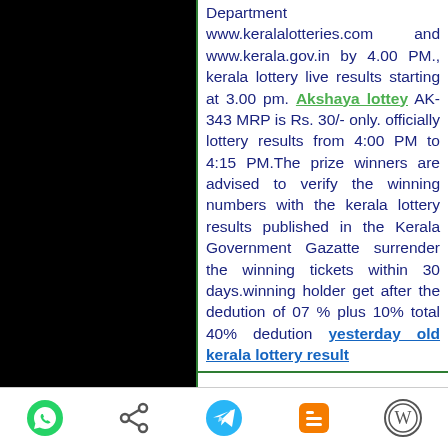Home Auditorium by Kerala Lottery Department www.keralalotteries.com and www.kerala.gov.in by 4.00 PM., kerala lottery live results starting at 3.00 pm. Akshaya lottey AK-343 MRP is Rs. 30/- only. officially lottery results from 4:00 PM to 4:15 PM.The prize winners are advised to verify the winning numbers with the kerala lottery results published in the Kerala Government Gazatte surrender the winning tickets within 30 days.winning holder get after the dedution of 07 % plus 10% total 40% dedution yesterday old kerala lottery result
Official Akshaya lottery result AK-343